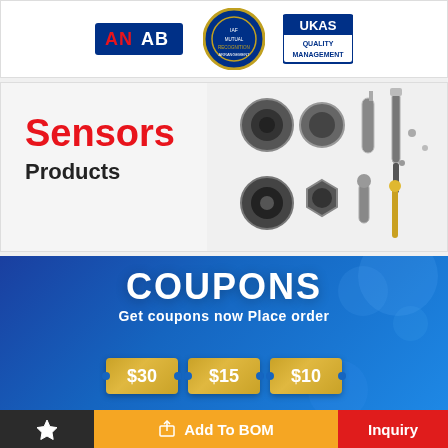[Figure (logo): Accreditation logos: ANAB, international arrangement seal, UKAS Quality Management]
[Figure (illustration): Sensors Products banner with red 'Sensors' heading, 'Products' subheading and various sensor component photos on right]
[Figure (infographic): COUPONS promotional banner on blue background. Text: 'COUPONS', 'Get coupons now Place order', three coupon tickets showing $30, $15, $10]
[Figure (infographic): Bottom action bar with star/favorite icon on dark background, 'Add To BOM' button on orange background, 'Inquiry' button on red background]